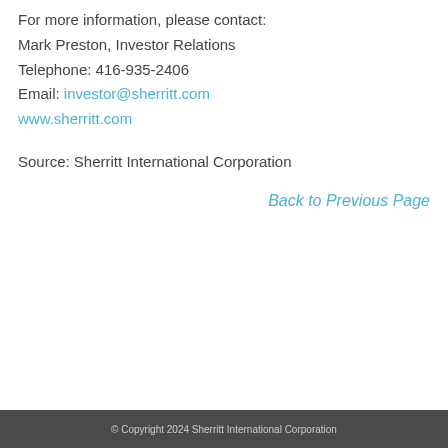For more information, please contact:
Mark Preston, Investor Relations
Telephone: 416-935-2406
Email: investor@sherritt.com
www.sherritt.com
Source: Sherritt International Corporation
Back to Previous Page
© Copyright 2024 Sherritt International Corporation